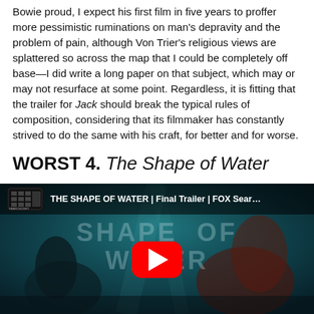Bowie proud, I expect his first film in five years to proffer more pessimistic ruminations on man's depravity and the problem of pain, although Von Trier's religious views are splattered so across the map that I could be completely off base—I did write a long paper on that subject, which may or may not resurface at some point. Regardless, it is fitting that the trailer for Jack should break the typical rules of composition, considering that its filmmaker has constantly strived to do the same with his craft, for better and for worse.
WORST 4. The Shape of Water
[Figure (screenshot): YouTube video thumbnail/embed for 'THE SHAPE OF WATER | Final Trailer | FOX Searchlight' showing underwater scene with teal background and figures, with red YouTube play button.]